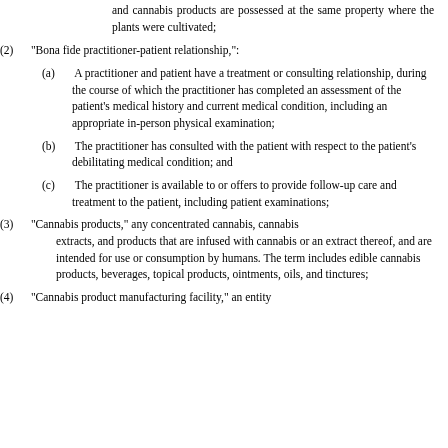and cannabis products are possessed at the same property where the plants were cultivated;
(2) "Bona fide practitioner-patient relationship,":
(a) A practitioner and patient have a treatment or consulting relationship, during the course of which the practitioner has completed an assessment of the patient's medical history and current medical condition, including an appropriate in-person physical examination;
(b) The practitioner has consulted with the patient with respect to the patient's debilitating medical condition; and
(c) The practitioner is available to or offers to provide follow-up care and treatment to the patient, including patient examinations;
(3) "Cannabis products," any concentrated cannabis, cannabis extracts, and products that are infused with cannabis or an extract thereof, and are intended for use or consumption by humans. The term includes edible cannabis products, beverages, topical products, ointments, oils, and tinctures;
(4) "Cannabis product manufacturing facility," an entity